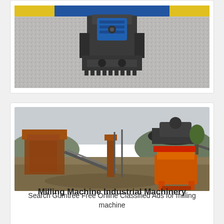[Figure (photo): Close-up photo of industrial milling/crushing machine head with blue motor unit on grey granular material background, yellow and blue banner at top]
[Figure (photo): Industrial quarry or mining facility with large crusher/cone crusher machine on orange support frame, conveyor belts, rust-colored structures, muddy ground]
Milling Machine Industrial Machinery
Search Gumtree Free Online Classified Ads for milling machine